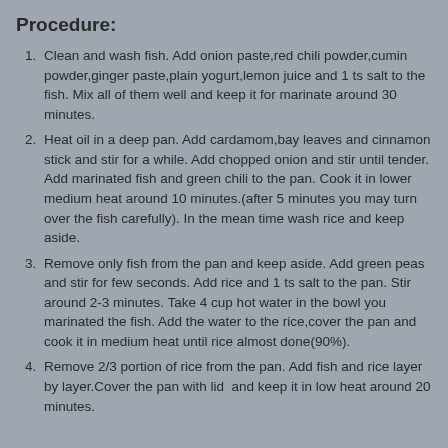Procedure:
Clean and wash fish. Add onion paste,red chili powder,cumin powder,ginger paste,plain yogurt,lemon juice and 1 ts salt to the fish. Mix all of them well and keep it for marinate around 30 minutes.
Heat oil in a deep pan. Add cardamom,bay leaves and cinnamon stick and stir for a while. Add chopped onion and stir until tender. Add marinated fish and green chili to the pan. Cook it in lower medium heat around 10 minutes.(after 5 minutes you may turn over the fish carefully). In the mean time wash rice and keep aside.
Remove only fish from the pan and keep aside. Add green peas and stir for few seconds. Add rice and 1 ts salt to the pan. Stir around 2-3 minutes. Take 4 cup hot water in the bowl you marinated the fish. Add the water to the rice,cover the pan and cook it in medium heat until rice almost done(90%).
Remove 2/3 portion of rice from the pan. Add fish and rice layer by layer.Cover the pan with lid  and keep it in low heat around 20 minutes.